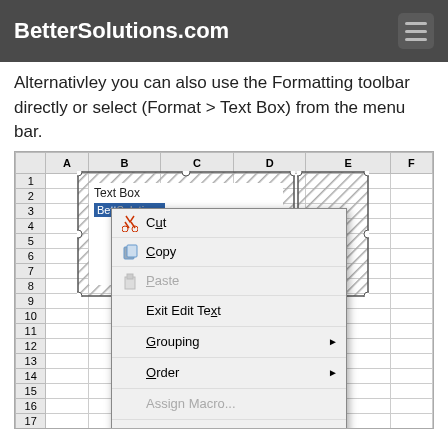BetterSolutions.com
Alternativley you can also use the Formatting toolbar directly or select (Format > Text Box) from the menu bar.
[Figure (screenshot): Excel spreadsheet showing a text box selected with a right-click context menu open. The context menu shows options: Cut, Copy, Paste (greyed), Exit Edit Text, Grouping (with arrow), Order (with arrow), Assign Macro... (greyed), Set AutoShape Defaults, Format Text Box... (highlighted in blue), Hyperlink... (greyed).]